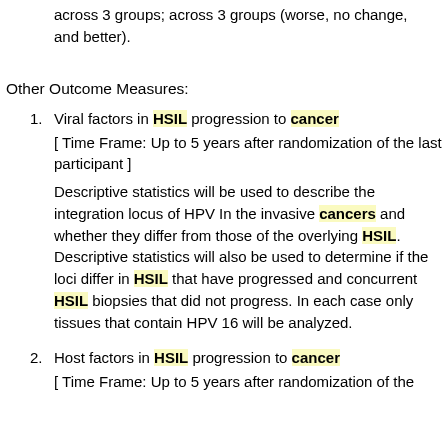across 3 groups; across 3 groups (worse, no change, and better).
Other Outcome Measures:
1. Viral factors in HSIL progression to cancer [ Time Frame: Up to 5 years after randomization of the last participant ] Descriptive statistics will be used to describe the integration locus of HPV In the invasive cancers and whether they differ from those of the overlying HSIL. Descriptive statistics will also be used to determine if the loci differ in HSIL that have progressed and concurrent HSIL biopsies that did not progress. In each case only tissues that contain HPV 16 will be analyzed.
2. Host factors in HSIL progression to cancer [ Time Frame: Up to 5 years after randomization of the